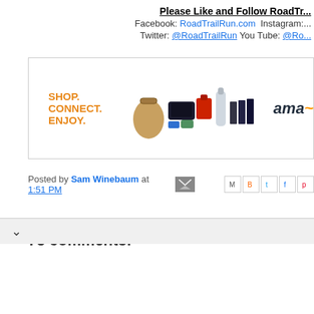Please Like and Follow RoadTr...
Facebook: RoadTrailRun.com  Instagram:...
Twitter: @RoadTrailRun  You Tube: @Ro...
[Figure (other): Amazon advertisement banner with SHOP. CONNECT. ENJOY. text in orange, product images, and Amazon logo]
Posted by Sam Winebaum at 1:51 PM
78 comments: